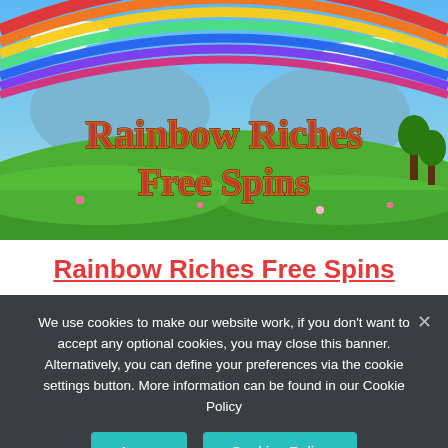[Figure (illustration): Rainbow Riches Free Spins slot game image featuring a colorful rainbow arching over a green landscape with the text 'Rainbow Riches Free Spins' in large decorative red and gold lettering]
Rainbow Riches Free Spins
We use cookies to make our website work, if you don't want to accept any optional cookies, you may close this banner. Alternatively, you can define your preferences via the cookie settings button. More information can be found in our Cookie Policy
Agree   Cookies Policy